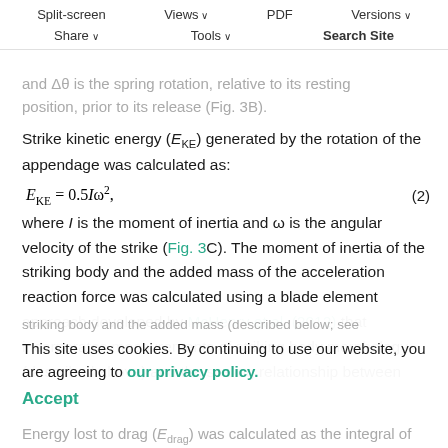Split-screen  Views  PDF  Versions  Share  Tools  Search Site
and Δθ is the spring rotation, relative to its resting position, prior to its release (Fig. 3B).
Strike kinetic energy (E_KE) generated by the rotation of the appendage was calculated as:
where I is the moment of inertia and ω is the angular velocity of the strike (Fig. 3C). The moment of inertia of the striking body and the added mass of the acceleration reaction force was calculated using a blade element approach developed by McHenry et al. (2012) that incorporates measurements of striking body morphology (described above) and the scaling relationship between
This site uses cookies. By continuing to use our website, you are agreeing to our privacy policy.
Accept
Energy lost to drag (E_drag) was calculated as the integral of